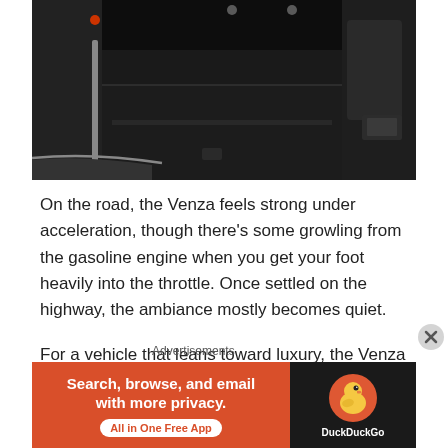[Figure (photo): Car interior cargo area / trunk photographed in dark lighting, showing flat load floor, silver trim accents, and rear seats]
On the road, the Venza feels strong under acceleration, though there's some growling from the gasoline engine when you get your foot heavily into the throttle. Once settled on the highway, the ambiance mostly becomes quiet.

For a vehicle that leans toward luxury, the Venza has some sporting road manners. Select the Sport
Advertisements
[Figure (screenshot): DuckDuckGo advertisement banner — orange left panel reading 'Search, browse, and email with more privacy. All in One Free App' and dark right panel with DuckDuckGo logo]